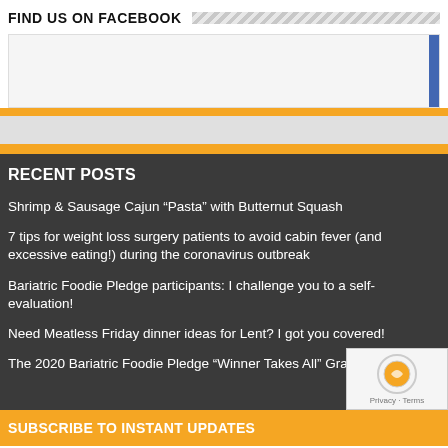FIND US ON FACEBOOK
[Figure (other): Facebook widget placeholder box with blue right bar and orange bottom bar]
RECENT POSTS
Shrimp & Sausage Cajun “Pasta” with Butternut Squash
7 tips for weight loss surgery patients to avoid cabin fever (and excessive eating!) during the coronavirus outbreak
Bariatric Foodie Pledge participants: I challenge you to a self-evaluation!
Need Meatless Friday dinner ideas for Lent? I got you covered!
The 2020 Bariatric Foodie Pledge “Winner Takes All” Grand
SUBSCRIBE TO INSTANT UPDATES